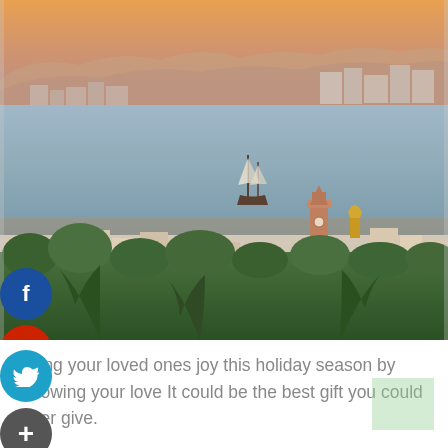[Figure (photo): Aerial/elevated view of a coastal Mexican city (Puerto Vallarta) at golden hour sunset, showing the bay with a tall ship, colonial church with ornate tower, dense urban buildings, lush tropical vegetation in foreground, and mountains in the background under an orange sky. Social media sharing buttons (Facebook, Google+, Twitter, and a plus/more button) are overlaid on the left side of the image.]
Bring your loved ones joy this holiday season by showing your love It could be the best gift you could ever give.